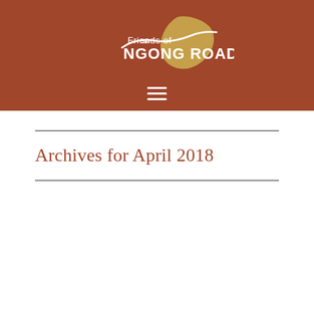[Figure (logo): Friends of Ngong Road logo with white text and golden Africa map silhouette on brown/terracotta background, with hamburger menu icon below]
Archives for April 2018
APRIL 28, 2018 BY KEITH —